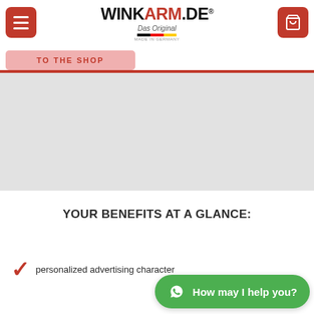[Figure (logo): Winkarm.de logo with tagline 'Das Original' and German flag stripe, 'Made in Germany' text]
[Figure (screenshot): Red 'TO THE SHOP' button partially visible, gray product image area below header]
YOUR BENEFITS AT A GLANCE:
personalized advertising character
[Figure (other): Green WhatsApp chat button with text 'How may I help you?']